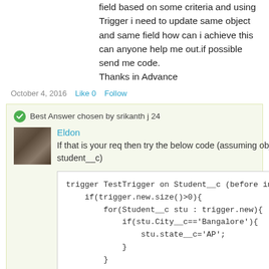field based on some criteria and using Trigger i need to update same object and same field how can i achieve this can anyone help me out.if possible send me code.
Thanks in Advance
October 4, 2016   Like 0   Follow
Best Answer chosen by srikanth j 24
Eldon
If that is your req then try the below code (assuming object name: student__c)
trigger TestTrigger on Student__c (before insert,bef
    if(trigger.new.size()>0){
        for(Student__c stu : trigger.new){
            if(stu.City__c=='Bangalore'){
                stu.state__c='AP';
            }
        }
    }
}